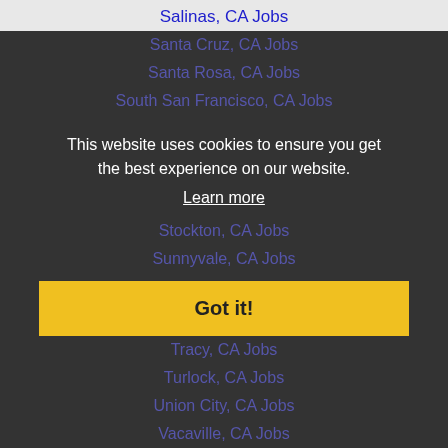Salinas, CA Jobs
San Bruno, CA Jobs
San Francisco, CA Jobs
San Jose, CA Jobs
San Leandro, CA Jobs
San Mateo, CA Jobs
San Rafael, CA Jobs
San Ramon, CA Jobs
Santa Clara, CA Jobs
Santa Cruz, CA Jobs
Santa Rosa, CA Jobs
South San Francisco, CA Jobs
Stockton, CA Jobs
Sunnyvale, CA Jobs
Tracy, CA Jobs
Turlock, CA Jobs
Union City, CA Jobs
Vacaville, CA Jobs
This website uses cookies to ensure you get the best experience on our website. Learn more
Got it!